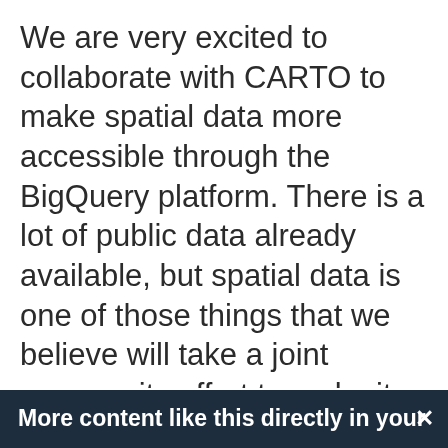We are very excited to collaborate with CARTO to make spatial data more accessible through the BigQuery platform. There is a lot of public data already available, but spatial data is one of those things that we believe will take a joint community effort to make it happen. With tools like CARTO and BigQuery fully invested in GIS we feel that GIS data access, analysis and visualization is at an inflection point. We are eager to see what spatial
More content like this directly in your ×